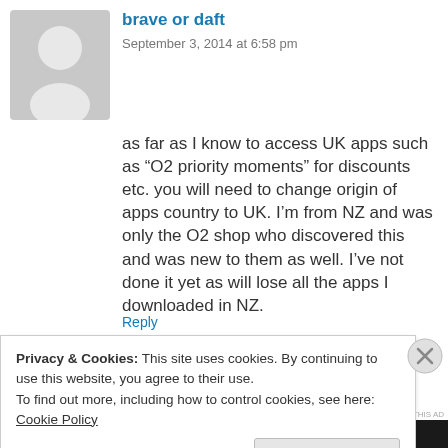[Figure (illustration): Generic grey avatar placeholder silhouette of a person]
brave or daft
September 3, 2014 at 6:58 pm
as far as I know to access UK apps such as “O2 priority moments” for discounts etc. you will need to change origin of apps country to UK. I’m from NZ and was only the O2 shop who discovered this and was new to them as well. I’ve not done it yet as will lose all the apps I downloaded in NZ.
Privacy & Cookies: This site uses cookies. By continuing to use this website, you agree to their use.
To find out more, including how to control cookies, see here: Cookie Policy
Close and accept